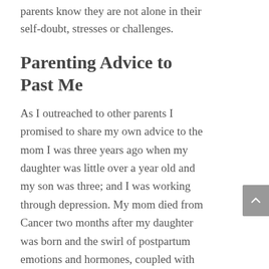parents know they are not alone in their self-doubt, stresses or challenges.
Parenting Advice to Past Me
As I outreached to other parents I promised to share my own advice to the mom I was three years ago when my daughter was little over a year old and my son was three; and I was working through depression. My mom died from Cancer two months after my daughter was born and the swirl of postpartum emotions and hormones, coupled with grief and loss, still had a pretty strong hold over me. When I set out to write this inspirational column I wasn't sure what words of wisdom I had to share with myself during that time, but after reading